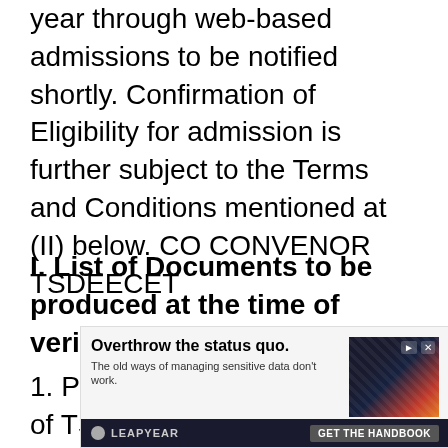year through web-based admissions to be notified shortly. Confirmation of Eligibility for admission is further subject to the Terms and Conditions mentioned at (II) below. CO CONVENOR TSDEECET
I. List of Documents to be produced at the time of verification of certificates:
1. Pdf of ONLINE application of TSDEECET.
[Figure (other): Advertisement banner for Leapyear with headline 'Overthrow the status quo.' and subtext 'The old ways of managing sensitive data don't work.' with a dark image of a face overlaid with digital graphics and a 'GET THE HANDBOOK' call-to-action button.]